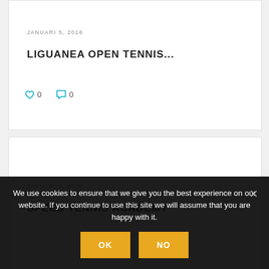JANUARI 5, 2016
LIGUANEA OPEN TENNIS...
♡ 0   ○ 0
JANUARI 5, 2016
SPEED TENNIS ACADEMY
We use cookies to ensure that we give you the best experience on our website. If you continue to use this site we will assume that you are happy with it.